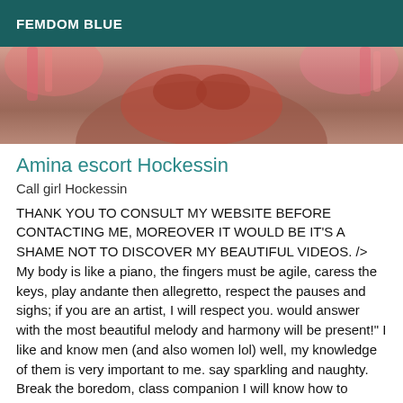FEMDOM BLUE
[Figure (photo): Partial photo of a woman in a red patterned bikini/outfit with pink decorative elements, cropped to show torso]
Amina escort Hockessin
Call girl Hockessin
THANK YOU TO CONSULT MY WEBSITE BEFORE CONTACTING ME, MOREOVER IT WOULD BE IT'S A SHAME NOT TO DISCOVER MY BEAUTIFUL VIDEOS. /> My body is like a piano, the fingers must be agile, caress the keys, play andante then allegretto, respect the pauses and sighs; if you are an artist, I will respect you. would answer with the most beautiful melody and harmony will be present!" I like and know men (and also women lol) well, my knowledge of them is very important to me. say sparkling and naughty. Break the boredom, class companion I will know how to transform your fantasies in waking dream, a kind of a thousand and one